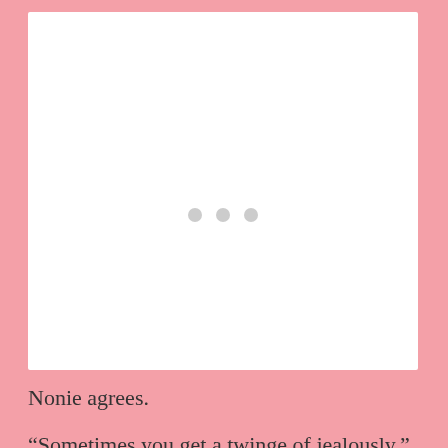[Figure (other): A large white rectangular image/photo placeholder with three small grey dots centered in the middle, suggesting loading or a divider.]
Nonie agrees.
“Sometimes you get a twinge of jealously,”